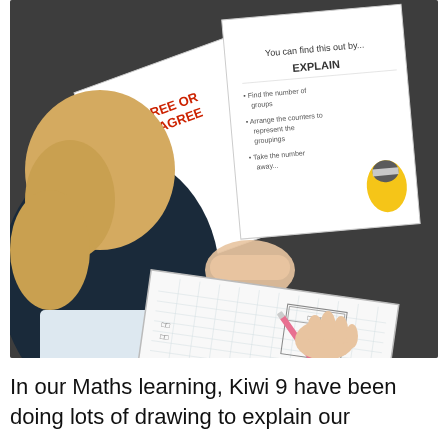[Figure (photo): A young child with blonde hair sits on a dark carpet floor, leaning over a grid-lined exercise book, drawing with a pink pencil. Around the child on the floor are several printed worksheets with Minion characters, including one labeled 'AGREE OR DISAGREE' and another labeled 'EXPLAIN'. The child appears to be drawing boxes and shapes.]
In our Maths learning, Kiwi 9 have been doing lots of drawing to explain our